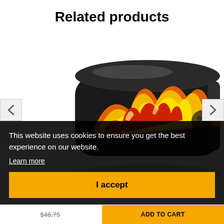Related products
[Figure (photo): A black toy car or electronic device with flame graphics on it, angled view showing red and orange flame decals on glossy black surface]
This website uses cookies to ensure you get the best experience on our website.
Learn more
I accept
$46.75
ADD TO CART